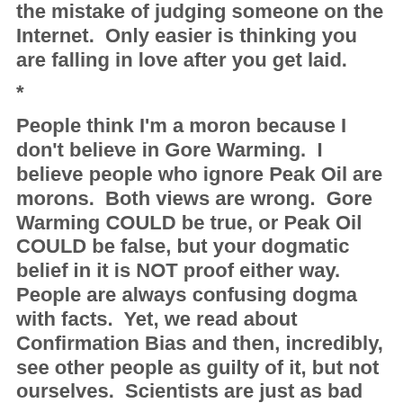the mistake of judging someone on the Internet.  Only easier is thinking you are falling in love after you get laid.
*
People think I'm a moron because I don't believe in Gore Warming.  I believe people who ignore Peak Oil are morons.  Both views are wrong.  Gore Warming COULD be true, or Peak Oil COULD be false, but your dogmatic belief in it is NOT proof either way.  People are always confusing dogma with facts.  Yet, we read about Confirmation Bias and then, incredibly, see other people as guilty of it, but not ourselves.  Scientists are just as bad as